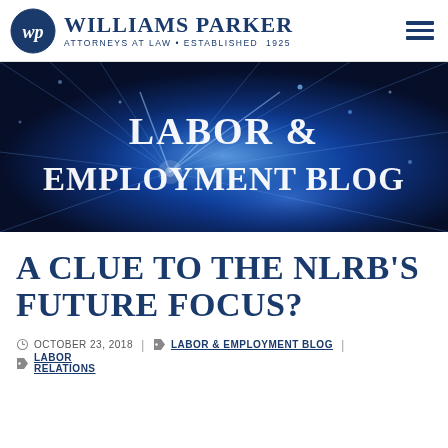Williams Parker Attorneys at Law • Established 1925
[Figure (photo): Dark blue abstract technology background with light rays and network nodes, overlaid with text 'LABOR & EMPLOYMENT BLOG' in large white serif letters]
A CLUE TO THE NLRB'S FUTURE FOCUS?
OCTOBER 23, 2018 | LABOR & EMPLOYMENT BLOG | LABOR RELATIONS